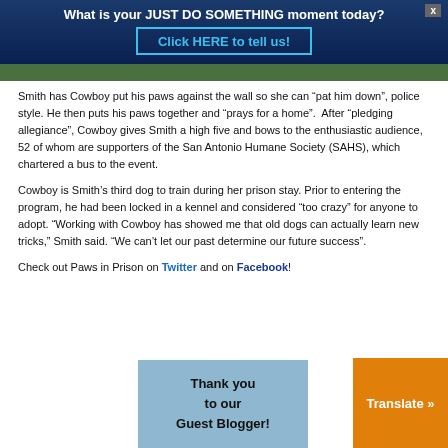What is your JUST DO SOMETHING moment today? Click HERE to tell us!
Smith has Cowboy put his paws against the wall so she can “pat him down”, police style. He then puts his paws together and “prays for a home”.  After “pledging allegiance”, Cowboy gives Smith a high five and bows to the enthusiastic audience, 52 of whom are supporters of the San Antonio Humane Society (SAHS), which chartered a bus to the event.
Cowboy is Smith’s third dog to train during her prison stay. Prior to entering the program, he had been locked in a kennel and considered “too crazy” for anyone to adopt. “Working with Cowboy has showed me that old dogs can actually learn new tricks,” Smith said. “We can’t let our past determine our future success”.
Check out Paws in Prison on Twitter and on Facebook!
[Figure (other): Blue-grey box with text 'Thank you to our Guest Blogger!']
Translate »